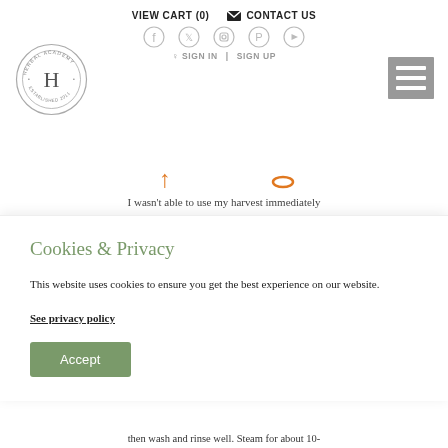VIEW CART (0)   CONTACT US
[Figure (logo): Herbal Academy International School circular stamp logo with H in center]
[Figure (screenshot): Website navigation area with social icons (Facebook, Twitter, Instagram, Pinterest, YouTube) and SIGN IN / SIGN UP links, hamburger menu, partial decorative icons]
I wasn't able to use my harvest immediately
Cookies & Privacy
This website uses cookies to ensure you get the best experience on our website.
See privacy policy
Accept
then wash and rinse well. Steam for about 10-